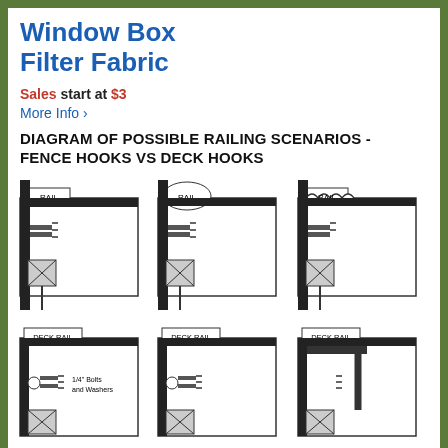Window Box Filter Fabric
Sales start at $3
More Info ›
DIAGRAM OF POSSIBLE RAILING SCENARIOS - FENCE HOOKS VS DECK HOOKS
[Figure (engineering-diagram): Six engineering diagrams showing railing hook mounting scenarios: top row shows three fence hook configurations labeled RAIL (square post, round post, and bracket post variants); bottom row shows three deck hook configurations labeled DECK RAIL with bolts and washers annotation.]